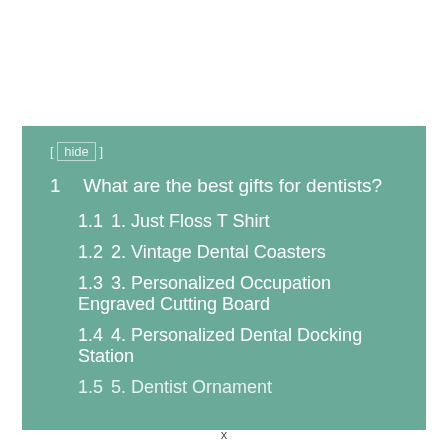[ hide ]
1  What are the best gifts for dentists?
1.1  1. Just Floss T Shirt
1.2  2. Vintage Dental Coasters
1.3  3. Personalized Occupation Engraved Cutting Board
1.4  4. Personalized Dental Docking Station
1.5  5. Dentist Ornament
x